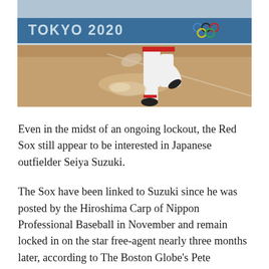[Figure (photo): Tokyo 2020 Olympics baseball/softball scene showing a player's lower body in motion at home plate, with the Tokyo 2020 branding and Olympic rings visible on the blue advertising board in the background. The player is wearing white uniform with black cleats on a dirt field.]
Even in the midst of an ongoing lockout, the Red Sox still appear to be interested in Japanese outfielder Seiya Suzuki.
The Sox have been linked to Suzuki since he was posted by the Hiroshima Carp of Nippon Professional Baseball in November and remain locked in on the star free-agent nearly three months later, according to The Boston Globe's Pete Abraham.